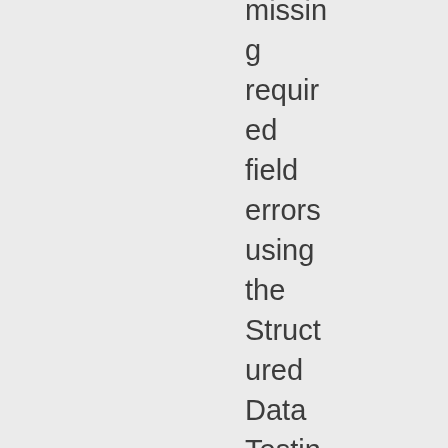missing required field errors using the Structured Data Testing Tool. This has been